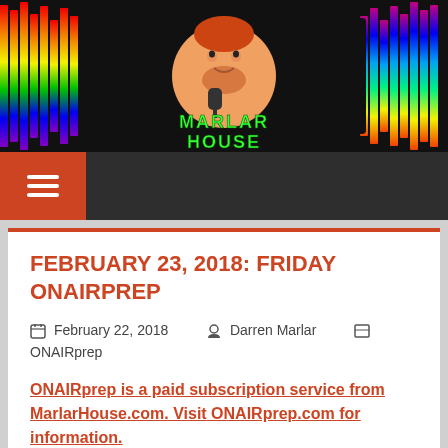[Figure (logo): MarlarHouse banner with rainbow equalizer bars background and cartoon avatar of Darren Marlar with microphone, text reads MARLAR HOUSE]
[Figure (other): Dark navigation bar with orange/red hamburger menu button on left]
FEBRUARY 23, 2018: FRIDAY ONAIRPREP
February 22, 2018  Darren Marlar  ONAIRprep
ONAIRprep is a paid subscription service from MarlarHouse.com. Visit ONAIRprep.com for information.
Looking for the customized tag for “Daily Dose of Weird